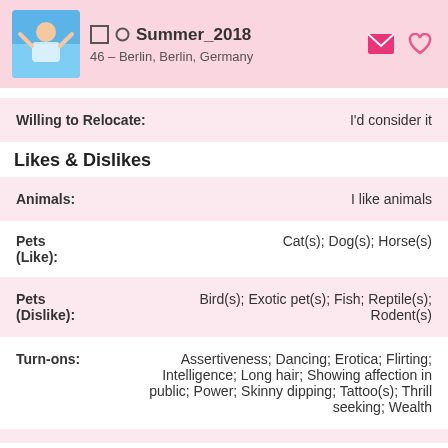Summer_2018 | 46 – Berlin, Berlin, Germany
| Field | Value |
| --- | --- |
| Willing to Relocate: | I'd consider it |
| Animals: | I like animals |
| Pets (Like): | Cat(s); Dog(s); Horse(s) |
| Pets (Dislike): | Bird(s); Exotic pet(s); Fish; Reptile(s); Rodent(s) |
| Turn-ons: | Assertiveness; Dancing; Erotica; Flirting; Intelligence; Long hair; Showing affection in public; Power; Skinny dipping; Tattoo(s); Thrill seeking; Wealth |
Likes & Dislikes